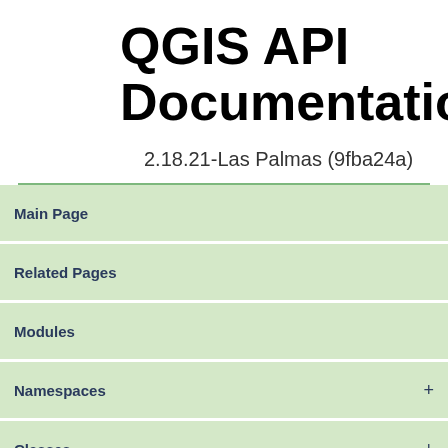QGIS API Documentation
2.18.21-Las Palmas (9fba24a)
Main Page
Related Pages
Modules
Namespaces +
Classes +
Files +
Search
Classes | Signals |
Public Member Functions |